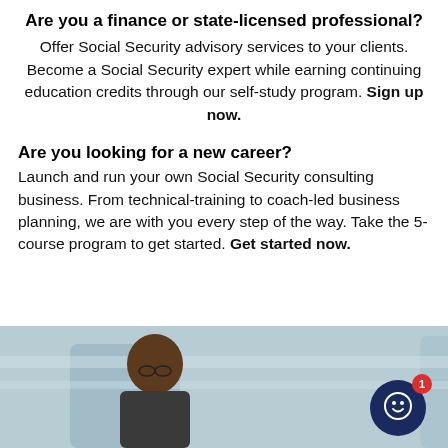Are you a finance or state-licensed professional?
Offer Social Security advisory services to your clients. Become a Social Security expert while earning continuing education credits through our self-study program. Sign up now.
Are you looking for a new career?
Launch and run your own Social Security consulting business. From technical-training to coach-led business planning, we are with you every step of the way. Take the 5-course program to get started. Get started now.
[Figure (photo): Photo of two smiling older adults, a man and a woman, in a professional setting. A chat widget with a smiley face icon and notification badge showing '1' is overlaid in the bottom right corner.]